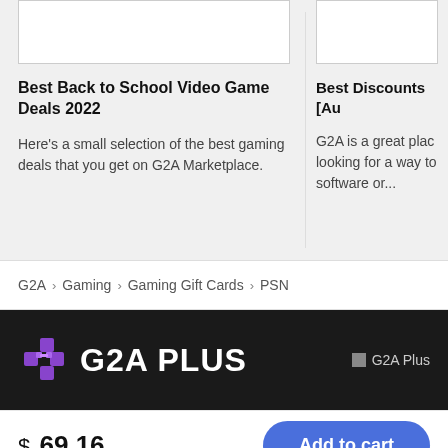[Figure (screenshot): Truncated card image placeholder, white box with border, left card]
Best Back to School Video Game Deals 2022
Here's a small selection of the best gaming deals that you get on G2A Marketplace.
[Figure (screenshot): Truncated card image placeholder, white box with border, right card]
Best Discounts [Au
G2A is a great plac looking for a way to software or...
G2A > Gaming > Gaming Gift Cards > PSN
[Figure (logo): G2A Plus dark banner with purple G2A Plus icon logo and white G2A PLUS text, and G2A Plus badge on right]
$ 69.16
Add to cart